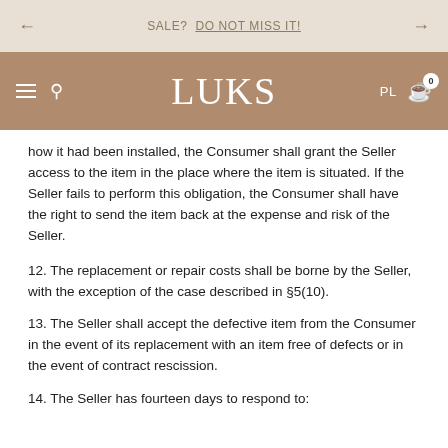SALE? DO NOT MISS IT!
LUKS  PL  0
how it had been installed, the Consumer shall grant the Seller access to the item in the place where the item is situated. If the Seller fails to perform this obligation, the Consumer shall have the right to send the item back at the expense and risk of the Seller.
12. The replacement or repair costs shall be borne by the Seller, with the exception of the case described in §5(10).
13. The Seller shall accept the defective item from the Consumer in the event of its replacement with an item free of defects or in the event of contract rescission.
14. The Seller has fourteen days to respond to: